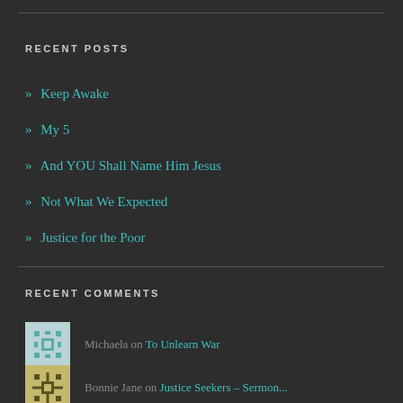RECENT POSTS
» Keep Awake
» My 5
» And YOU Shall Name Him Jesus
» Not What We Expected
» Justice for the Poor
RECENT COMMENTS
Michaela on To Unlearn War
Bonnie Jane on Justice Seekers – Sermon...